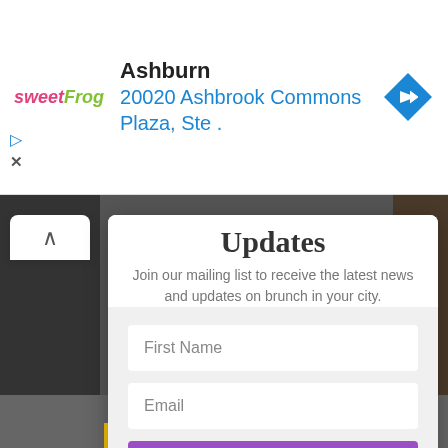[Figure (screenshot): Sweet Frog frozen yogurt store location ad banner: logo 'sweetFrog', location 'Ashburn', address '20020 Ashbrook Commons Plaza, Ste .', blue diamond navigation icon, play and close controls]
Updates
Join our mailing list to receive the latest news and updates on brunch in your city.
[Figure (screenshot): Email subscription form with First Name field, Email field, and SUBSCRIBE! button in purple. Background shows BBQ restaurant imagery with 'BAR-B-QUE' logo.]